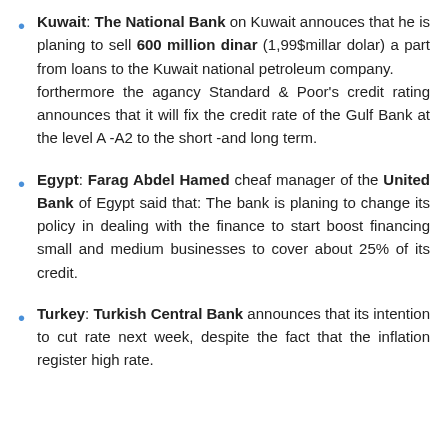Kuwait: The National Bank on Kuwait annouces that he is planing to sell 600 million dinar (1,99$millar dolar) a part from loans to the Kuwait national petroleum company. forthermore the agancy Standard & Poor's credit rating announces that it will fix the credit rate of the Gulf Bank at the level A -A2 to the short -and long term.
Egypt: Farag Abdel Hamed cheaf manager of the United Bank of Egypt said that: The bank is planing to change its policy in dealing with the finance to start boost financing small and medium businesses to cover about 25% of its credit.
Turkey: Turkish Central Bank announces that its intention to cut rate next week, despite the fact that the inflation register high rate.